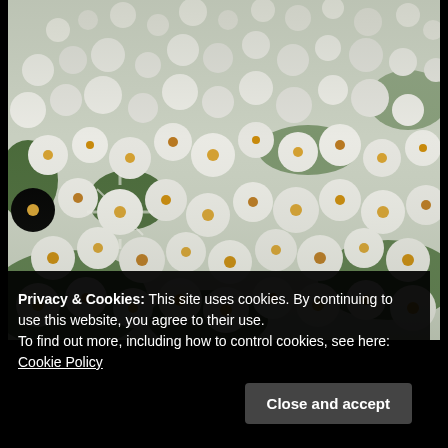[Figure (photo): Close-up photograph of a dense cluster of small white daisy-like flowers with yellow and brown centers, surrounded by green foliage. The flowers fill the entire frame.]
Privacy & Cookies: This site uses cookies. By continuing to use this website, you agree to their use.
To find out more, including how to control cookies, see here: Cookie Policy
Close and accept